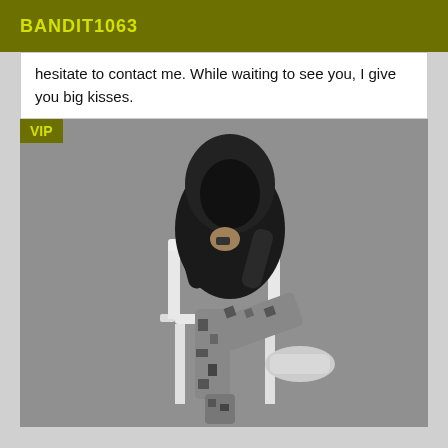BANDIT1063
hesitate to contact me. While waiting to see you, I give you big kisses.
[Figure (photo): Black and white photo of a person wearing a black hoodie with face hidden, sitting on a white plastic chair, wearing camouflage pants and white sneakers. A VIP badge overlay appears in the top-left corner.]